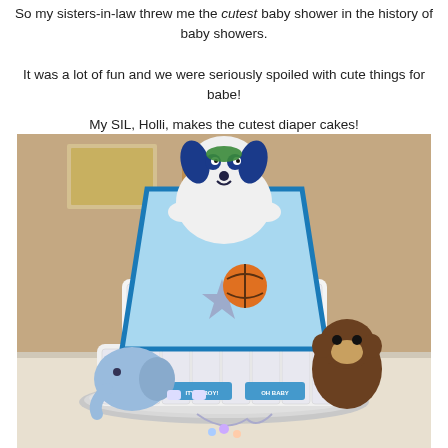So my sisters-in-law threw me the cutest baby shower in the history of baby showers.
It was a lot of fun and we were seriously spoiled with cute things for babe!
My SIL, Holli, makes the cutest diaper cakes!
[Figure (photo): A decorated diaper cake on a silver tray on a white-tablecloth table. The cake is made of rolled diapers stacked in tiers, topped with a blue blanket and a stuffed dog toy. Additional stuffed animals (a blue elephant and a brown monkey) are placed around the base. Small items like socks and accessories decorate the cake. A book and a small basket are visible in the background to the left.]